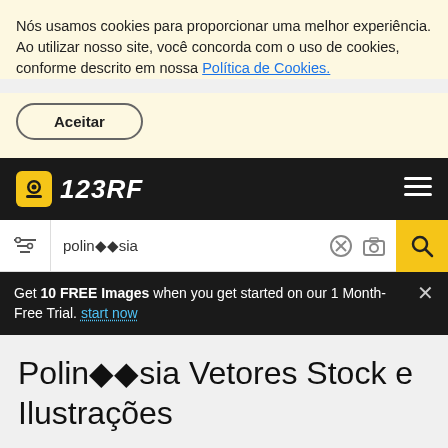Nós usamos cookies para proporcionar uma melhor experiência. Ao utilizar nosso site, você concorda com o uso de cookies, conforme descrito em nossa Política de Cookies.
Aceitar
[Figure (logo): 123RF logo with camera icon on black navbar, hamburger menu on right]
polin◆◆sia
Get 10 FREE Images when you get started on our 1 Month-Free Trial. start now
Polin◆◆sia Vetores Stock e Ilustrações